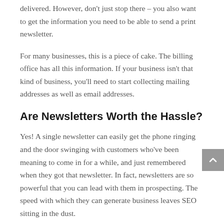delivered. However, don't just stop there – you also want to get the information you need to be able to send a print newsletter.
For many businesses, this is a piece of cake. The billing office has all this information. If your business isn't that kind of business, you'll need to start collecting mailing addresses as well as email addresses.
Are Newsletters Worth the Hassle?
Yes! A single newsletter can easily get the phone ringing and the door swinging with customers who've been meaning to come in for a while, and just remembered when they got that newsletter. In fact, newsletters are so powerful that you can lead with them in prospecting. The speed with which they can generate business leaves SEO sitting in the dust.